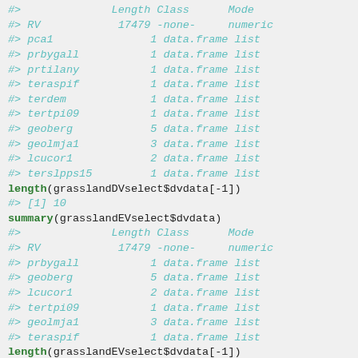#>              Length Class      Mode
#> RV            17479 -none-     numeric
#> pca1               1 data.frame list
#> prbygall           1 data.frame list
#> prtilany           1 data.frame list
#> teraspif           1 data.frame list
#> terdem             1 data.frame list
#> tertpi09           1 data.frame list
#> geoberg            5 data.frame list
#> geolmja1           3 data.frame list
#> lcucor1            2 data.frame list
#> terslpps15         1 data.frame list
length(grasslandDVselect$dvdata[-1])
#> [1] 10
summary(grasslandEVselect$dvdata)
#>              Length Class      Mode
#> RV            17479 -none-     numeric
#> prbygall           1 data.frame list
#> geoberg            5 data.frame list
#> lcucor1            2 data.frame list
#> tertpi09           1 data.frame list
#> geolmja1           3 data.frame list
#> teraspif           1 data.frame list
length(grasslandEVselect$dvdata[-1])